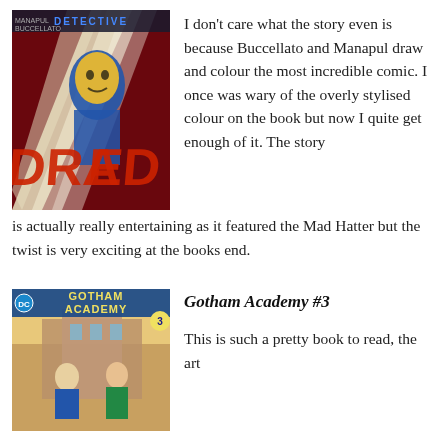[Figure (illustration): Comic book cover for Detective Comics featuring a stylised figure with red and blue colours and dramatic light beams]
I don't care what the story even is because Buccellato and Manapul draw and colour the most incredible comic. I once was wary of the overly stylised colour on the book but now I quite get enough of it. The story is actually really entertaining as it featured the Mad Hatter but the twist is very exciting at the books end.
[Figure (illustration): Comic book cover for Gotham Academy #3 featuring illustrated characters and school setting with teal/yellow tones]
Gotham Academy #3
This is such a pretty book to read, the art